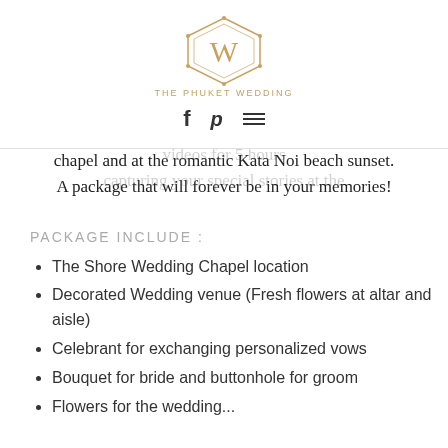[Figure (logo): Website navigation bar with logo (W monogram in diamond shape), brand name 'THE PHUKET WEDDING', Facebook and Pinterest icons, and hamburger menu icon overlaid on semi-transparent body text.]
The Pearl package is our most extravagant package defined and coveted after by couples. A cost-effective package that includes a photographer shooting videos for 5 hours capturing your special stories at the chapel and at the romantic Kata Noi beach sunset. A package that will forever be in your memories!
PACKAGE INCLUDE :
The Shore Wedding Chapel location
Decorated Wedding venue (Fresh flowers at altar and aisle)
Celebrant for exchanging personalized vows
Bouquet for bride and buttonhole for groom
Flowers for the wedding...